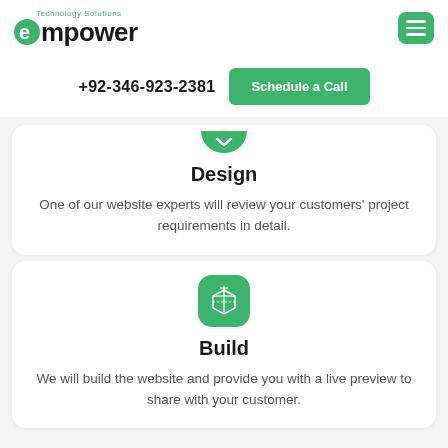[Figure (logo): Empower Technology Solutions logo with green circular e icon]
+92-346-923-2381
Schedule a Call
Design
One of our website experts will review your customers' project requirements in detail.
Build
We will build the website and provide you with a live preview to share with your customer.